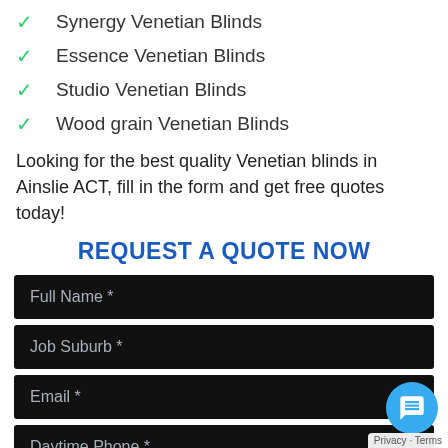Synergy Venetian Blinds
Essence Venetian Blinds
Studio Venetian Blinds
Wood grain Venetian Blinds
Looking for the best quality Venetian blinds in Ainslie ACT, fill in the form and get free quotes today!
REQUEST A QUOTE NOW
Full Name *
Job Suburb *
Email *
Daytime Phone *